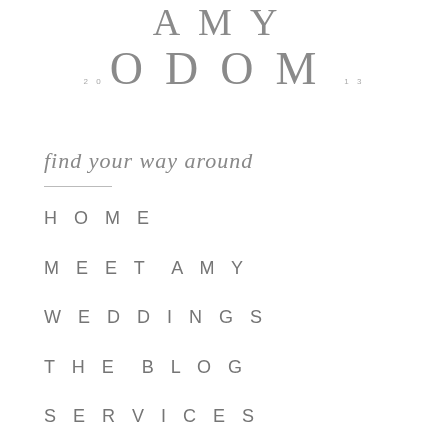AMY ODOM 2013
find your way around
HOME
MEET AMY
WEDDINGS
THE BLOG
SERVICES